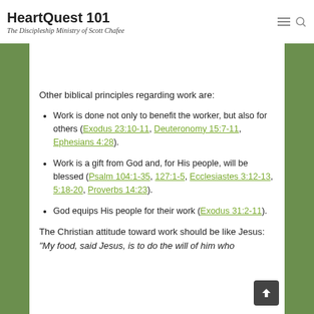HeartQuest 101 — The Discipleship Ministry of Scott Chafee
Other biblical principles regarding work are:
Work is done not only to benefit the worker, but also for others (Exodus 23:10-11, Deuteronomy 15:7-11, Ephesians 4:28).
Work is a gift from God and, for His people, will be blessed (Psalm 104:1-35, 127:1-5, Ecclesiastes 3:12-13, 5:18-20, Proverbs 14:23).
God equips His people for their work (Exodus 31:2-11).
The Christian attitude toward work should be like Jesus: “My food, said Jesus, is to do the will of him who